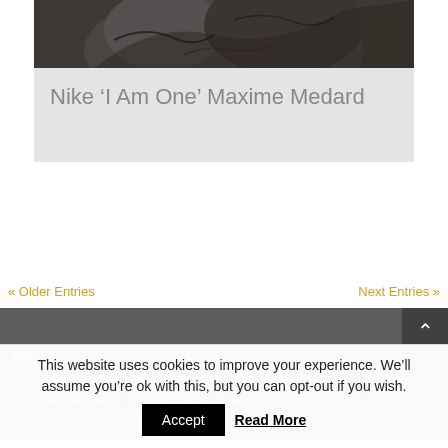[Figure (photo): Cropped photo of a tattooed hand or arm, dark moody tones]
Nike ‘I Am One’ Maxime Medard
« Older Entries
Next Entries »
Tags
Director
Director of Photography
2nd Unit
Photography
Timelapse
Stopframe Animation
Motion Control
Architecture
Panorama
Fashion
This website uses cookies to improve your experience. We’ll assume you’re ok with this, but you can opt-out if you wish.
Accept
Read More